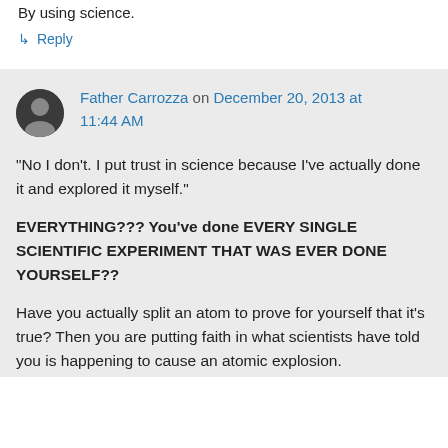By using science.
↳ Reply
Father Carrozza on December 20, 2013 at 11:44 AM
“No I don’t. I put trust in science because I’ve actually done it and explored it myself.”
EVERYTHING??? You’ve done EVERY SINGLE SCIENTIFIC EXPERIMENT THAT WAS EVER DONE YOURSELF??
Have you actually split an atom to prove for yourself that it’s true? Then you are putting faith in what scientists have told you is happening to cause an atomic explosion.